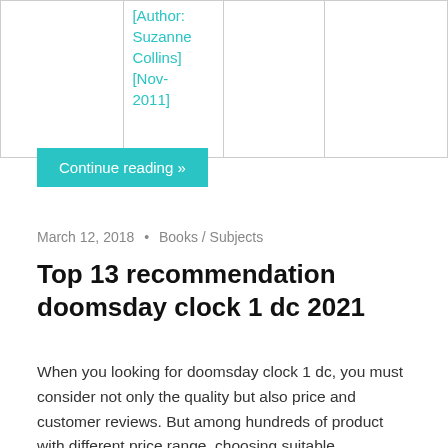|  | [Author: Suzanne Collins] [Nov-2011] |  |  |
Continue reading »
March 12, 2018 • Books / Subjects
Top 13 recommendation doomsday clock 1 dc 2021
When you looking for doomsday clock 1 dc, you must consider not only the quality but also price and customer reviews. But among hundreds of product with different price range, choosing suitable